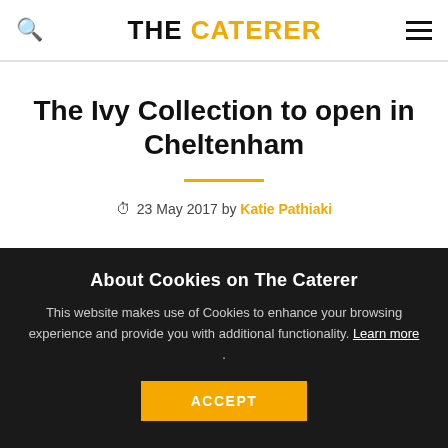THE CATERER
The Ivy Collection to open in Cheltenham
23 May 2017 by Katie Pathiaki
About Cookies on The Caterer
This website makes use of Cookies to enhance your browsing experience and provide you with additional functionality. Learn more .
ACCEPT